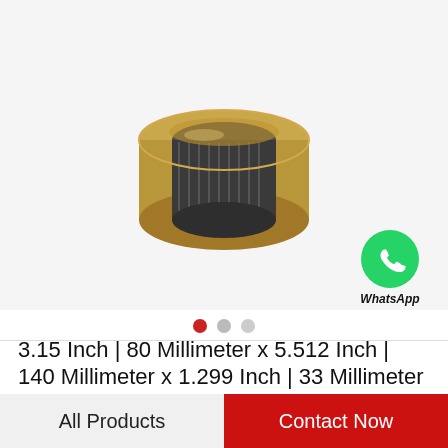[Figure (photo): A cylindrical bearing component with a gold/brass-colored outer ring and a dark metallic inner ring, photographed at an angle on a white/light gray background.]
[Figure (logo): WhatsApp green circle icon with phone handset symbol, labeled 'WhatsApp Online' in bold italic text below.]
3.15 Inch | 80 Millimeter x 5.512 Inch | 140 Millimeter x 1.299 Inch | 33 Millimeter NSK…
All Products
Contact Now